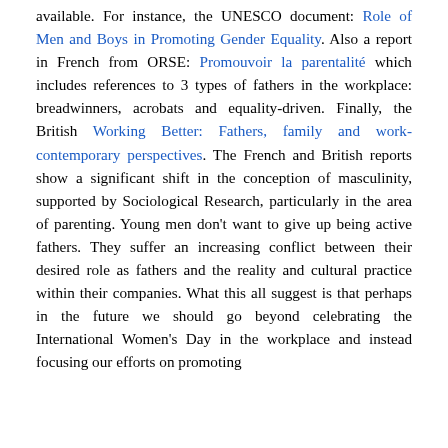available. For instance, the UNESCO document: Role of Men and Boys in Promoting Gender Equality. Also a report in French from ORSE: Promouvoir la parentalité which includes references to 3 types of fathers in the workplace: breadwinners, acrobats and equality-driven. Finally, the British Working Better: Fathers, family and work-contemporary perspectives. The French and British reports show a significant shift in the conception of masculinity, supported by Sociological Research, particularly in the area of parenting. Young men don't want to give up being active fathers. They suffer an increasing conflict between their desired role as fathers and the reality and cultural practice within their companies. What this all suggest is that perhaps in the future we should go beyond celebrating the International Women's Day in the workplace and instead focusing our efforts on promoting